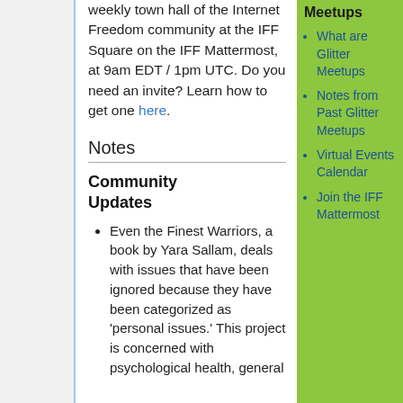weekly town hall of the Internet Freedom community at the IFF Square on the IFF Mattermost, at 9am EDT / 1pm UTC. Do you need an invite? Learn how to get one here.
Notes
Community Updates
Even the Finest Warriors, a book by Yara Sallam, deals with issues that have been ignored because they have been categorized as 'personal issues.' This project is concerned with psychological health, general
Meetups
What are Glitter Meetups
Notes from Past Glitter Meetups
Virtual Events Calendar
Join the IFF Mattermost